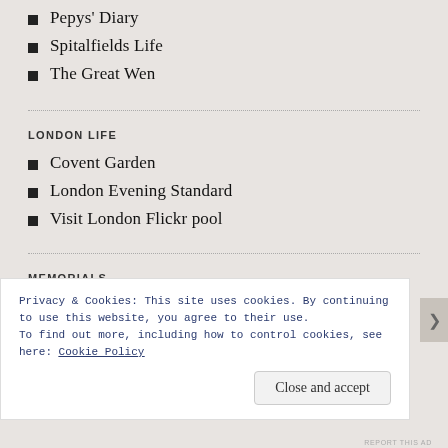Pepys' Diary
Spitalfields Life
The Great Wen
LONDON LIFE
Covent Garden
London Evening Standard
Visit London Flickr pool
MEMORIALS
London Remembers
Privacy & Cookies: This site uses cookies. By continuing to use this website, you agree to their use.
To find out more, including how to control cookies, see here: Cookie Policy
Close and accept
REPORT THIS AD